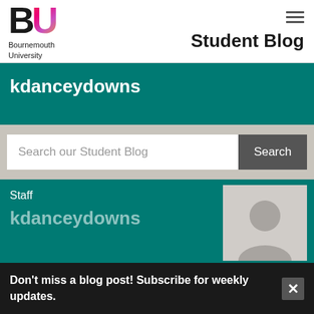[Figure (logo): Bournemouth University BU logo with gradient U letter and text below]
Student Blog
kdanceydowns
Search our Student Blog
Staff
kdanceydowns
[Figure (illustration): Default user avatar silhouette on grey background]
Don't miss a blog post! Subscribe for weekly updates.